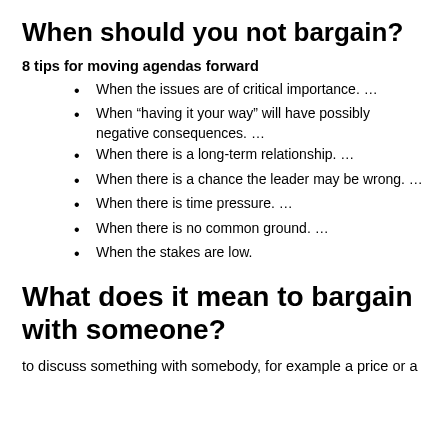When should you not bargain?
8 tips for moving agendas forward
When the issues are of critical importance. …
When “havng it your way” will have possibly negative consequences. …
When there is a long-term relationship. …
When there is a chance the leader may be wrong. …
When there is time pressure. …
When there is no common ground. …
When the stakes are low.
What does it mean to bargain with someone?
to discuss something with somebody, for example a price or a